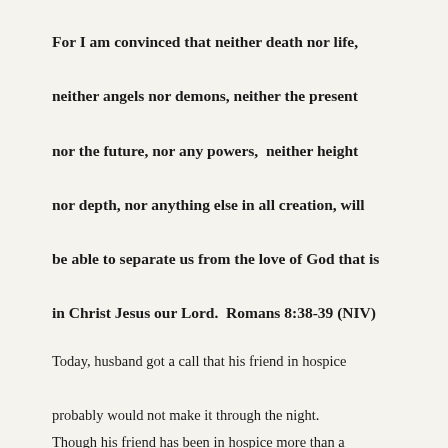For I am convinced that neither death nor life, neither angels nor demons, neither the present nor the future, nor any powers,  neither height nor depth, nor anything else in all creation, will be able to separate us from the love of God that is in Christ Jesus our Lord.  Romans 8:38-39 (NIV)
Today, husband got a call that his friend in hospice probably would not make it through the night. Though his friend has been in hospice more than a month, husband was still surprised by the call. When he last saw him a few days before his friend...